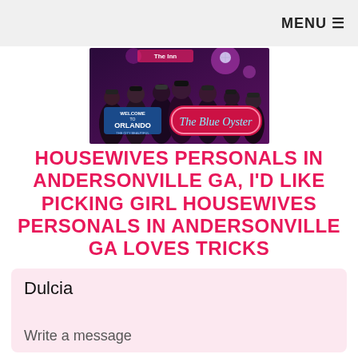MENU ☰
[Figure (photo): Group photo of people in leather outfits at a bar/club setting, with signs reading 'Welcome to Orlando' and 'The Blue Oyster']
HOUSEWIVES PERSONALS IN ANDERSONVILLE GA, I'D LIKE PICKING GIRL HOUSEWIVES PERSONALS IN ANDERSONVILLE GA LOVES TRICKS
Dulcia
Write a message